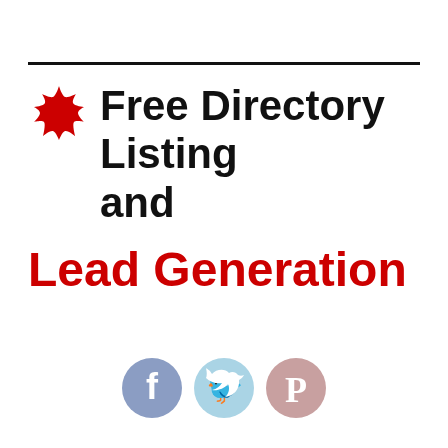Free Directory Listing and Lead Generation
[Figure (illustration): Social media icons: Facebook, Twitter, Pinterest circles at bottom center]